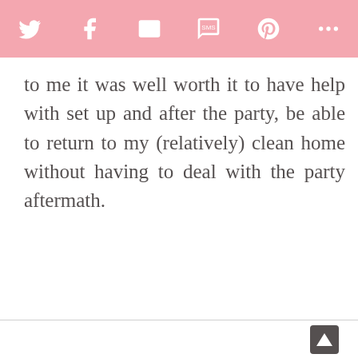[Social sharing icons: Twitter, Facebook, Email, SMS, Pinterest, More]
to me it was well worth it to have help with set up and after the party, be able to return to my (relatively) clean home without having to deal with the party aftermath.
[Back to top button]